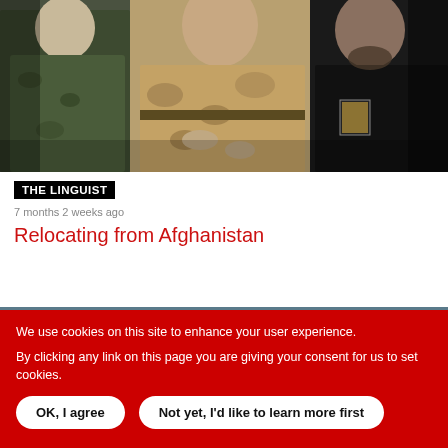[Figure (photo): Military personnel in camouflage uniforms, including one person in desert tan uniform, standing together]
THE LINGUIST
7 months 2 weeks ago
Relocating from Afghanistan
[Figure (photo): Motorcycle racer in red/blue suit and helmet leaning into a turn on a racing circuit]
We use cookies on this site to enhance your user experience.

By clicking any link on this page you are giving your consent for us to set cookies.

OK, I agree    Not yet, I'd like to learn more first